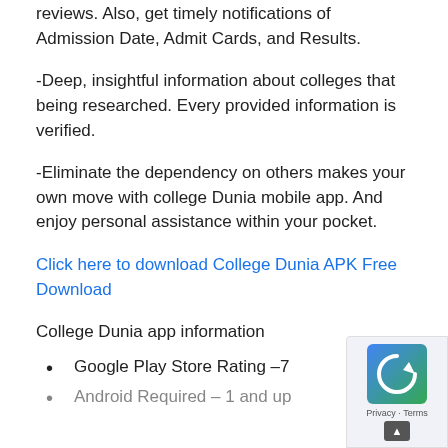reviews. Also, get timely notifications of Admission Date, Admit Cards, and Results.
-Deep, insightful information about colleges that being researched. Every provided information is verified.
-Eliminate the dependency on others makes your own move with college Dunia mobile app. And enjoy personal assistance within your pocket.
Click here to download College Dunia APK Free Download
College Dunia app information
Google Play Store Rating –7
Android Required – 1 and up